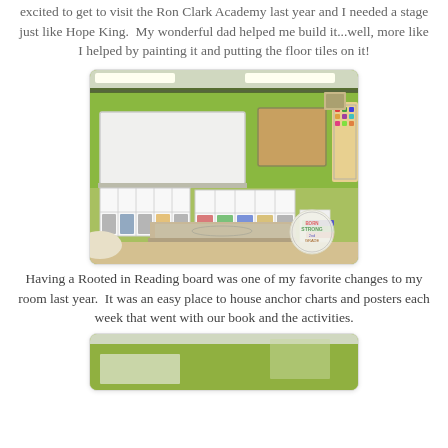excited to get to visit the Ron Clark Academy last year and I needed a stage just like Hope King.  My wonderful dad helped me build it...well, more like I helped by painting it and putting the floor tiles on it!
[Figure (photo): Classroom photo showing green walls, whiteboard, cubby storage units, a raised platform/stage with a rug, and bulletin boards. A circular logo watermark reads 'Born Strong 2nd Grade' in the bottom right corner.]
Having a Rooted in Reading board was one of my favorite changes to my room last year.  It was an easy place to house anchor charts and posters each week that went with our book and the activities.
[Figure (photo): Partial classroom photo showing green walls, partially visible at the bottom of the page.]